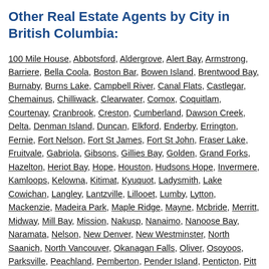Other Real Estate Agents by City in British Columbia:
100 Mile House, Abbotsford, Aldergrove, Alert Bay, Armstrong, Barriere, Bella Coola, Boston Bar, Bowen Island, Brentwood Bay, Burnaby, Burns Lake, Campbell River, Canal Flats, Castlegar, Chemainus, Chilliwack, Clearwater, Comox, Coquitlam, Courtenay, Cranbrook, Creston, Cumberland, Dawson Creek, Delta, Denman Island, Duncan, Elkford, Enderby, Errington, Fernie, Fort Nelson, Fort St James, Fort St John, Fraser Lake, Fruitvale, Gabriola, Gibsons, Gillies Bay, Golden, Grand Forks, Hazelton, Heriot Bay, Hope, Houston, Hudsons Hope, Invermere, Kamloops, Kelowna, Kitimat, Kyuquot, Ladysmith, Lake Cowichan, Langley, Lantzville, Lillooet, Lumby, Lytton, Mackenzie, Madeira Park, Maple Ridge, Mayne, Mcbride, Merritt, Midway, Mill Bay, Mission, Nakusp, Nanaimo, Nanoose Bay, Naramata, Nelson, New Denver, New Westminster, North Saanich, North Vancouver, Okanagan Falls, Oliver, Osoyoos, Parksville, Peachland, Pemberton, Pender Island, Penticton, Pitt